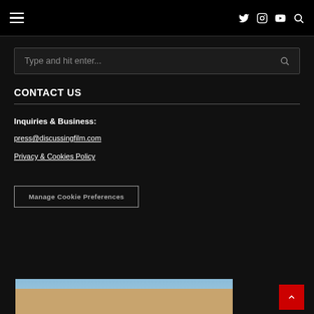Navigation bar with hamburger menu and social icons (Twitter, Instagram, YouTube) and search
Type and hit enter...
CONTACT US
Inquiries & Business:
press@discussingfilm.com
Privacy & Cookies Policy
Manage Cookie Preferences
[Figure (photo): Bottom strip showing a partial movie theater or attraction image with sky background]